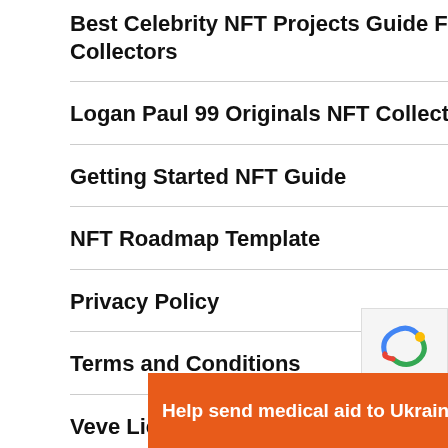Best Celebrity NFT Projects Guide For Collectors
Logan Paul 99 Originals NFT Collection
Getting Started NFT Guide
NFT Roadmap Template
Privacy Policy
Terms and Conditions
Veve Licenses: Confirmed vs. Rumored
[Figure (infographic): Orange Direct Relief ad banner: 'Help send medical aid to Ukraine >>' with DirectRelief logo]
[Figure (other): reCAPTCHA logo partial view in top-right corner]